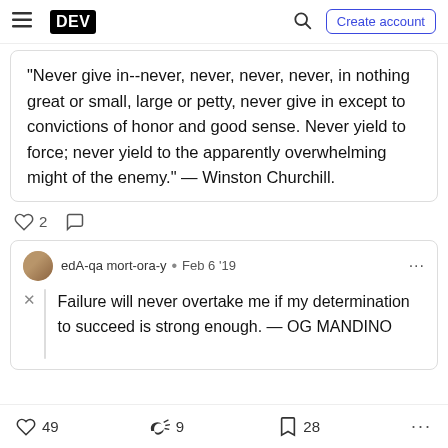DEV | Create account
“Never give in--never, never, never, never, in nothing great or small, large or petty, never give in except to convictions of honor and good sense. Never yield to force; never yield to the apparently overwhelming might of the enemy.” — Winston Churchill.
2 [likes] [comments]
edA-qa mort-ora-y • Feb 6 ’19
Failure will never overtake me if my determination to succeed is strong enough. — OG MANDINO
49 [likes]  9 [reactions]  28 [bookmarks]  ...